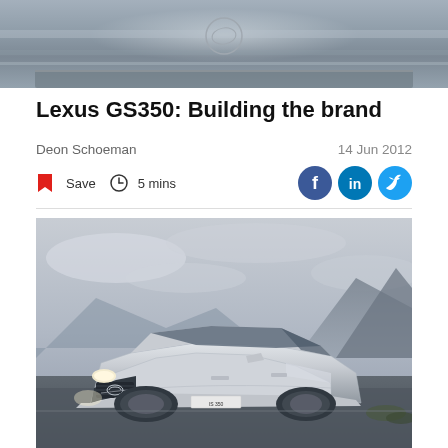[Figure (photo): Top partial image showing a metallic/chrome object (possibly a car emblem or detail) with a circular Lexus-style logo mark visible]
Lexus GS350: Building the brand
Deon Schoeman
14 Jun 2012
Save  5 mins
[Figure (photo): Silver Lexus IS350 sedan photographed at a low angle against a dramatic cloudy mountain backdrop, headlights on, three-quarter front view]